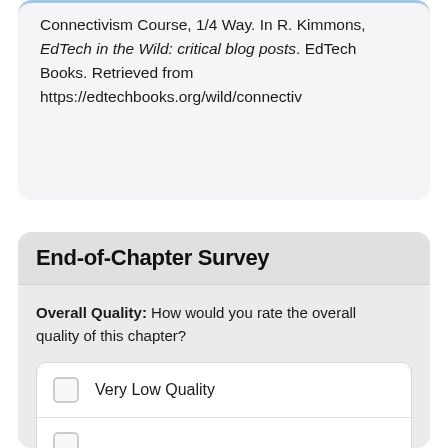Connectivism Course, 1/4 Way. In R. Kimmons, EdTech in the Wild: critical blog posts. EdTech Books. Retrieved from https://edtechbooks.org/wild/connectiv
End-of-Chapter Survey
Overall Quality: How would you rate the overall quality of this chapter?
Very Low Quality